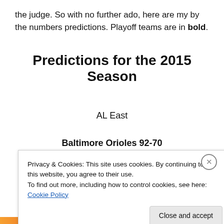the judge. So with no further ado, here are my by the numbers predictions. Playoff teams are in bold.
Predictions for the 2015 Season
AL East
Baltimore Orioles 92-70
Privacy & Cookies: This site uses cookies. By continuing to use this website, you agree to their use.
To find out more, including how to control cookies, see here: Cookie Policy
Close and accept